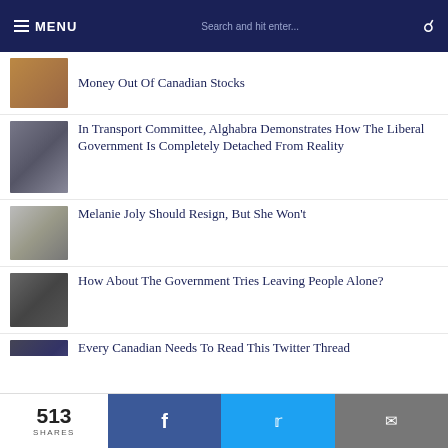MENU | Search and hit enter...
Money Out Of Canadian Stocks
In Transport Committee, Alghabra Demonstrates How The Liberal Government Is Completely Detached From Reality
Melanie Joly Should Resign, But She Won't
How About The Government Tries Leaving People Alone?
Every Canadian Needs To Read This Twitter Thread
513 SHARES